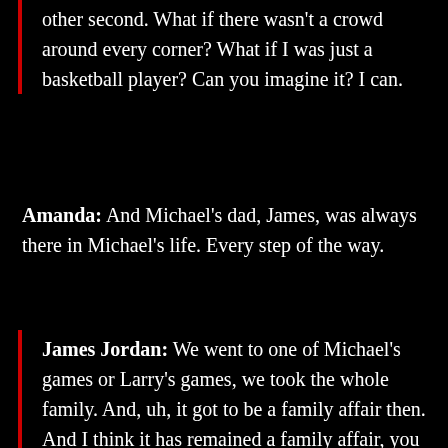other second. What if there wasn't a crowd around every corner? What if I was just a basketball player? Can you imagine it? I can.
Amanda: And Michael's dad, James, was always there in Michael's life. Every step of the way.
James Jordan: We went to one of Michael's games or Larry's games, we took the whole family. And, uh, it got to be a family affair then. And I think it has remained a family affair, you know, right